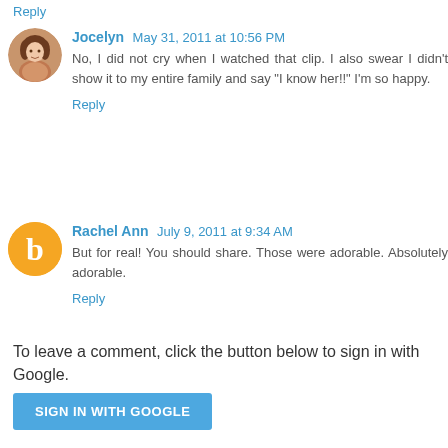Reply
Jocelyn May 31, 2011 at 10:56 PM
No, I did not cry when I watched that clip. I also swear I didn't show it to my entire family and say "I know her!!" I'm so happy.
Reply
Rachel Ann July 9, 2011 at 9:34 AM
But for real! You should share. Those were adorable. Absolutely adorable.
Reply
To leave a comment, click the button below to sign in with Google.
SIGN IN WITH GOOGLE